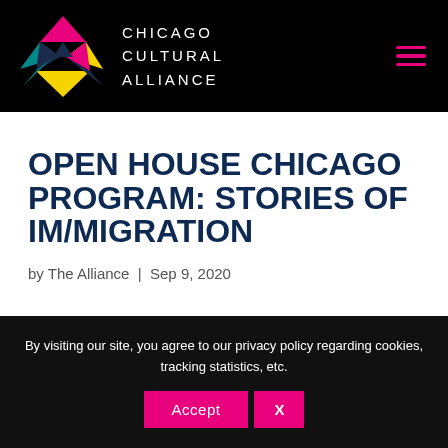CHICAGO CULTURAL ALLIANCE
OPEN HOUSE CHICAGO PROGRAM: STORIES OF IM/MIGRATION
by The Alliance | Sep 9, 2020
By visiting our site, you agree to our privacy policy regarding cookies, tracking statistics, etc.